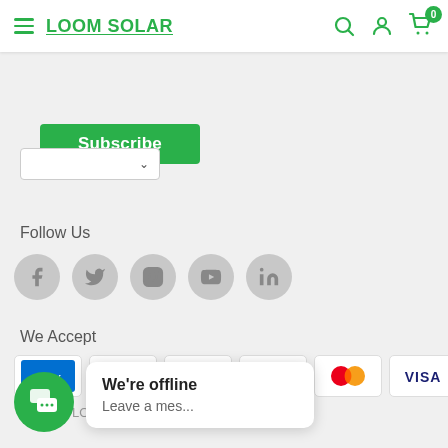LOOM SOLAR
[Figure (screenshot): Subscribe button (green)]
[Figure (screenshot): Dropdown selector with chevron]
Follow Us
[Figure (infographic): Social media icons: Facebook, Twitter, Instagram, YouTube, LinkedIn]
We Accept
[Figure (infographic): Payment method icons: AMEX, Diners Club, Discover, JCB, Mastercard, VISA]
[Figure (screenshot): Chat popup: We're offline. Leave a mes...]
We're offline
Leave a mes...